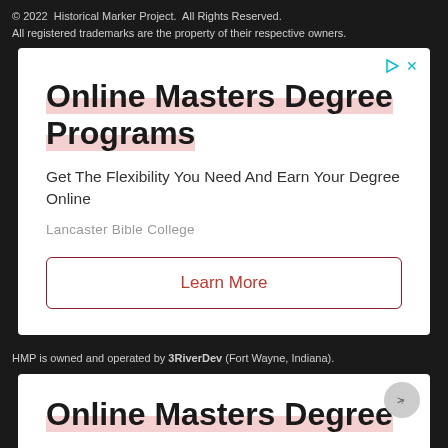© 2022  Historical Marker Project.  All Rights Reserved.
All registered trademarks are the property of their respective owners.
[Figure (infographic): Advertisement box with title 'Online Masters Degree Programs', subtitle 'Get The Flexibility You Need And Earn Your Degree Online', provider 'Lancaster Bible College', and a 'Learn More' button. Has ad icons (play triangle and X) in top right.]
HMP is owned and operated by 3RiverDev (Fort Wayne, Indiana).
[Figure (infographic): Second advertisement box (partial, cut off) showing title 'Online Masters Degree' with pink highlight underline. Has navigation circle icon in top right.]